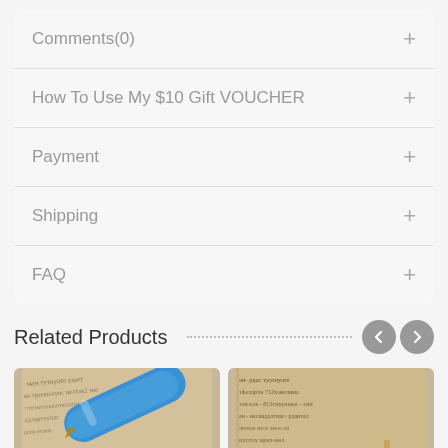Comments(0) +
How To Use My $10 Gift VOUCHER +
Payment +
Shipping +
FAQ +
Related Products
[Figure (photo): Photo of a blue pen resting on handwritten Cyrillic manuscript text on aged paper]
[Figure (photo): Photo of handwritten Cyrillic manuscript text on aged paper with a small cross visible]